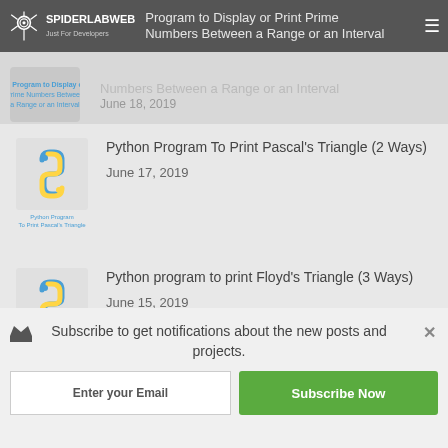SpiderLabWeb — Just For Developers
Python Program to Display or Print Prime Numbers Between a Range or an Interval — June 18, 2019
Python Program To Print Pascal's Triangle (2 Ways) — June 17, 2019
Python program to print Floyd's Triangle (3 Ways) — June 15, 2019
Shares — Share buttons: Facebook, Twitter, WhatsApp, Gmail, Pinterest, Kingdoms
Subscribe to get notifications about the new posts and projects.
Enter your Email | Subscribe Now